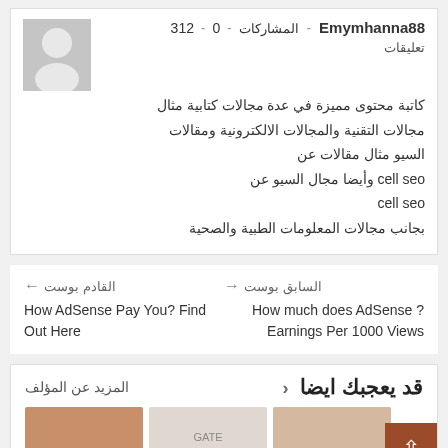312 - Emymhanna88 - المشاركات - 0
تعليقات
[Figure (illustration): Gray silhouette avatar placeholder image]
كاتبة محتوى مميزة في عدة مجالات كتابية مثال مجالات التقنية والمجالات الالكترونية ومقالات السيو مثال مقالات عن cell seo وأيضا مجال السيو عن cell seo بجانب مجالات المعلومات الطبية والصحية
← القادم بوست
السابق بوست →
How AdSense Pay You? Find Out Here
How much does AdSense Earnings Per 1000 Views?
قد يعجبك ايضا
المزيد عن المؤلف